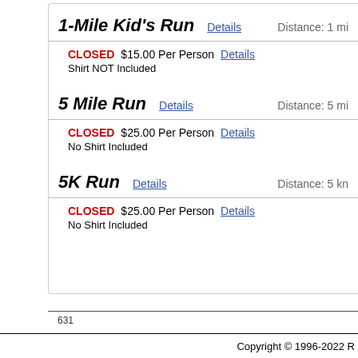1-Mile Kid's Run
Distance: 1 mi
CLOSED  $15.00 Per Person  Details
Shirt NOT Included
5 Mile Run
Distance: 5 mi
CLOSED  $25.00 Per Person  Details
No Shirt Included
5K Run
Distance: 5 kn
CLOSED  $25.00 Per Person  Details
No Shirt Included
631
Copyright © 1996-2022 R